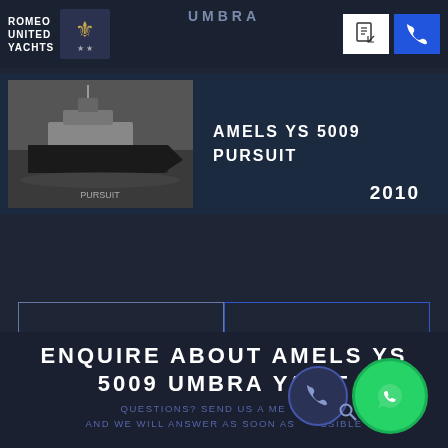ROMEO UNITED YACHTS | UMBRA
[Figure (photo): Black and white photo of an offshore supply vessel / yacht named Pursuit at sea]
AMELS YS 5009 PURSUIT
2010
EXPLORE THE BUILDER WEBPAGE
VIEW AMELS YACHTS FOR SALE
ENQUIRE ABOUT AMELS YS 5009 UMBRA YACHT
QUESTIONS? SEND US A MESSAGE AND WE WILL ANSWER AS SOON AS POSSIBLE